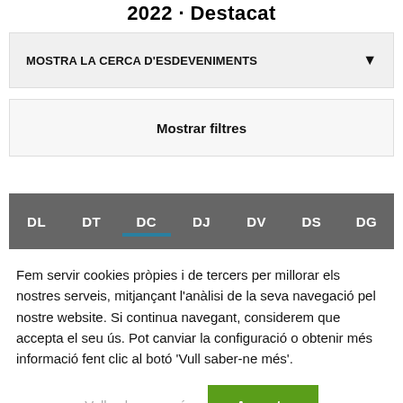2022 · Destacat
MOSTRA LA CERCA D'ESDEVENIMENTS
Mostrar filtres
[Figure (other): Weekly calendar navigation bar showing days: DL, DT, DC, DJ, DV, DS, DG with DC selected (underlined in blue)]
Fem servir cookies pròpies i de tercers per millorar els nostres serveis, mitjançant l'anàlisi de la seva navegació pel nostre website. Si continua navegant, considerem que accepta el seu ús. Pot canviar la configuració o obtenir més informació fent clic al botó 'Vull saber-ne més'.
Vull saber-ne més
Accepto